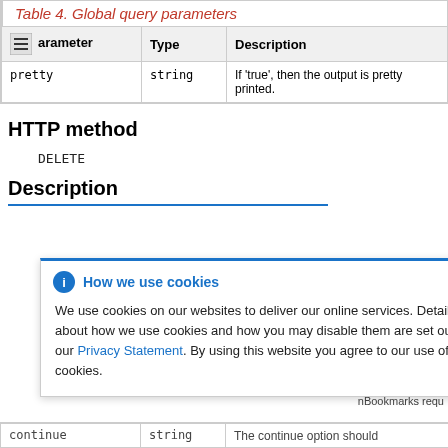Table 4. Global query parameters
| Parameter | Type | Description |
| --- | --- | --- |
| pretty | string | If 'true', then the output is pretty printed. |
HTTP method
DELETE
Description
How we use cookies

We use cookies on our websites to deliver our online services. Details about how we use cookies and how you may disable them are set out in our Privacy Statement. By using this website you agree to our use of cookies.
|  | string |  |
| --- | --- | --- |
| continue | string | The continue option should |